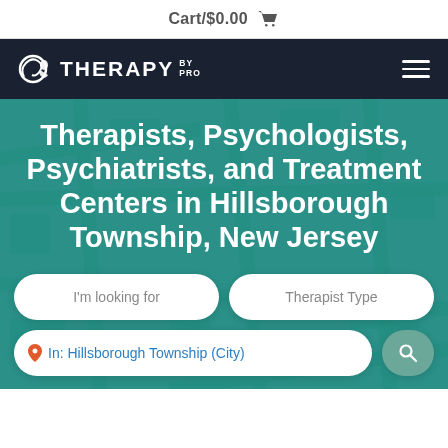Cart/$0.00
[Figure (logo): Therapy By Pro logo with circular swirl icon in white on dark navy background, with hamburger menu on the right]
Therapists, Psychologists, Psychiatrists, and Treatment Centers in Hillsborough Township, New Jersey
I'm looking for
Therapist Type
In: Hillsborough Township (City)